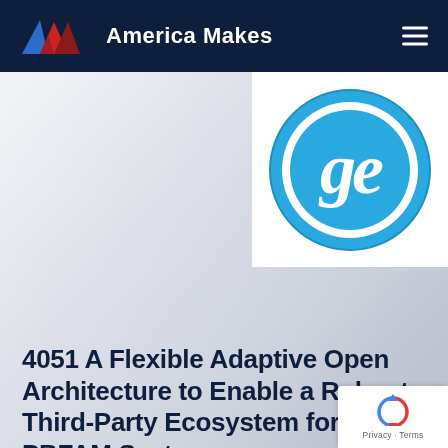America Makes
[Figure (logo): America Makes logo with red, blue and dark triangular mountain shapes and 'America Makes' text in white on navy background]
[Figure (logo): GE (General Electric) circular logo in blue and white on white background panel, partially cropped at right edge]
Process
4051 A Flexible Adaptive Open Architecture to Enable a Robust Third-Party Ecosystem for Metal PBFAM Systems
[Figure (logo): Google reCAPTCHA badge at bottom right with rotating arrows icon and 'Privacy - Terms' text]